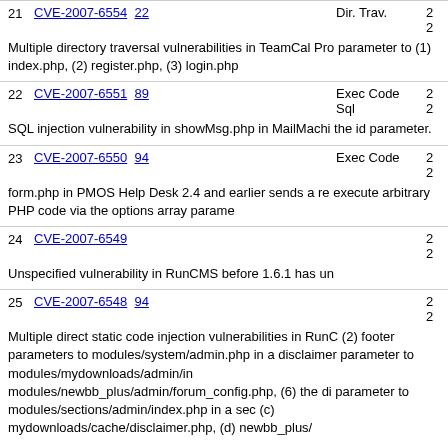21 CVE-2007-6554 22 Dir. Trav. 20 20
Multiple directory traversal vulnerabilities in TeamCal Pro parameter to (1) index.php, (2) register.php, (3) login.php
22 CVE-2007-6551 89 Exec Code Sql 20 20
SQL injection vulnerability in showMsg.php in MailMachi the id parameter.
23 CVE-2007-6550 94 Exec Code 20 20
form.php in PMOS Help Desk 2.4 and earlier sends a re execute arbitrary PHP code via the options array parame
24 CVE-2007-6549 20 20
Unspecified vulnerability in RunCMS before 1.6.1 has un
25 CVE-2007-6548 94 20 20
Multiple direct static code injection vulnerabilities in RunC (2) footer parameters to modules/system/admin.php in a disclaimer parameter to modules/mydownloads/admin/in modules/newbb_plus/admin/forum_config.php, (6) the di parameter to modules/sections/admin/index.php in a sec (c) mydownloads/cache/disclaimer.php, (d) newbb_plus/